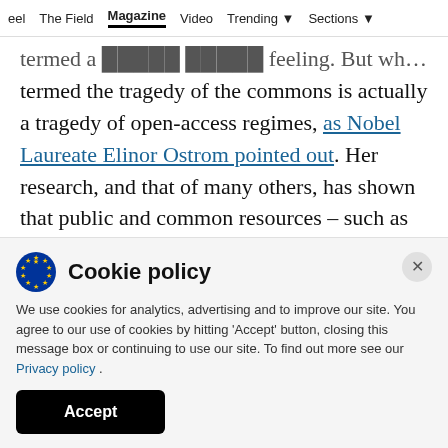eel  The Field  Magazine  Video  Trending  Sections
termed the tragedy of the commons is actually a tragedy of open-access regimes, as Nobel Laureate Elinor Ostrom pointed out. Her research, and that of many others, has shown that public and common resources – such as roads – can be managed well by collective action, or by government policies that limit overuse. However, when private self-interest
Cookie policy
We use cookies for analytics, advertising and to improve our site. You agree to our use of cookies by hitting 'Accept' button, closing this message box or continuing to use our site. To find out more see our Privacy policy .
Accept